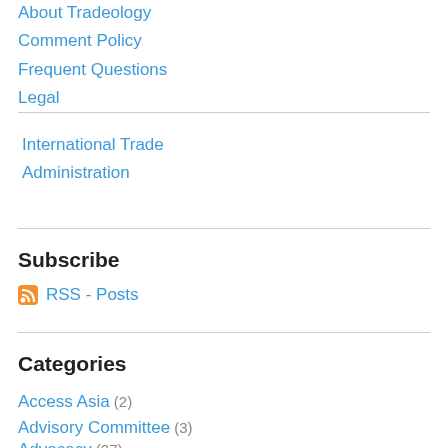About Tradeology
Comment Policy
Frequent Questions
Legal
International Trade Administration
Subscribe
RSS - Posts
Categories
Access Asia (2)
Advisory Committee (3)
Advocacy (27)